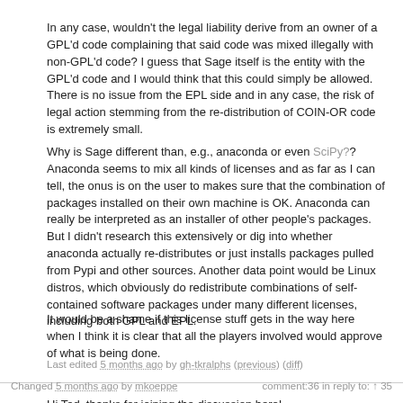In any case, wouldn't the legal liability derive from an owner of a GPL'd code complaining that said code was mixed illegally with non-GPL'd code? I guess that Sage itself is the entity with the GPL'd code and I would think that this could simply be allowed. There is no issue from the EPL side and in any case, the risk of legal action stemming from the re-distribution of COIN-OR code is extremely small.
Why is Sage different than, e.g., anaconda or even SciPy?? Anaconda seems to mix all kinds of licenses and as far as I can tell, the onus is on the user to makes sure that the combination of packages installed on their own machine is OK. Anaconda can really be interpreted as an installer of other people's packages. But I didn't research this extensively or dig into whether anaconda actually re-distributes or just installs packages pulled from Pypi and other sources. Another data point would be Linux distros, which obviously do redistribute combinations of self-contained software packages under many different licenses, including both GPL and EPL.
It would be a shame if this license stuff gets in the way here when I think it is clear that all the players involved would approve of what is being done.
Last edited 5 months ago by gh-tkralphs (previous) (diff)
Changed 5 months ago by mkoeppe    comment:36 in reply to: ↑ 35
Hi Ted, thanks for joining the discussion here!